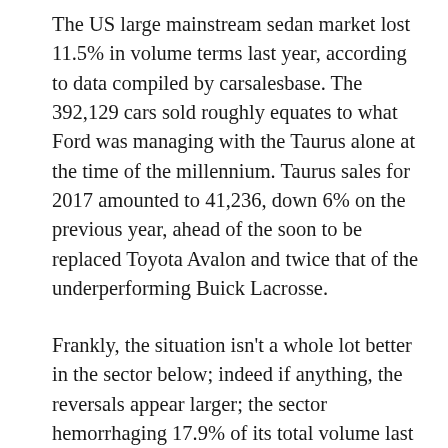The US large mainstream sedan market lost 11.5% in volume terms last year, according to data compiled by carsalesbase. The 392,129 cars sold roughly equates to what Ford was managing with the Taurus alone at the time of the millennium. Taurus sales for 2017 amounted to 41,236, down 6% on the previous year, ahead of the soon to be replaced Toyota Avalon and twice that of the underperforming Buick Lacrosse.
Frankly, the situation isn't a whole lot better in the sector below; indeed if anything, the reversals appear larger; the sector hemorrhaging 17.9% of its total volume last year, fuelling the hand-wringing in Dearborn over the Fusion, and by default, the Euro-Mondeo it fathers. With US sales of 209,623 in 2017, the mid-sized Ford retained